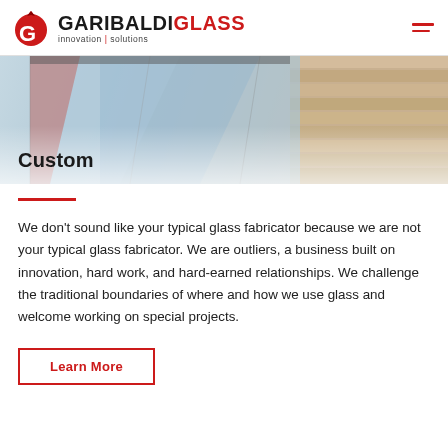GARIBALDI GLASS — innovation | solutions
[Figure (photo): Hero image showing glass panels and wooden siding/facade, with overlaid transparent glass reflections in red and blue tones. Title 'Custom' overlaid at bottom left.]
Custom
We don't sound like your typical glass fabricator because we are not your typical glass fabricator. We are outliers, a business built on innovation, hard work, and hard-earned relationships. We challenge the traditional boundaries of where and how we use glass and welcome working on special projects.
Learn More